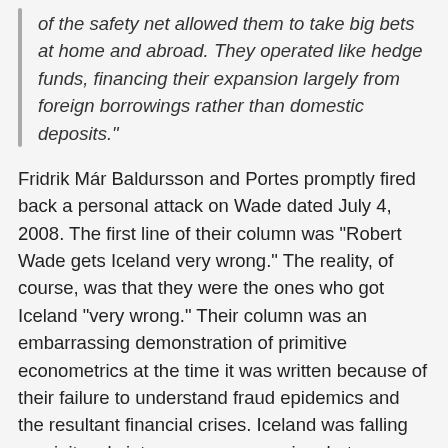of the safety net allowed them to take big bets at home and abroad. They operated like hedge funds, financing their expansion largely from foreign borrowings rather than domestic deposits."
Fridrik Már Baldursson and Portes promptly fired back a personal attack on Wade dated July 4, 2008. The first line of their column was “Robert Wade gets Iceland very wrong.” The reality, of course, was that they were the ones who got Iceland “very wrong.” Their column was an embarrassing demonstration of primitive econometrics at the time it was written because of their failure to understand fraud epidemics and the resultant financial crises. Iceland was falling precipitously into a severe recession, but Baldursson and Portes wrote that “the current slowdown is welcome” even though they admitted that it had already “overshoot.” They expected the slowdown